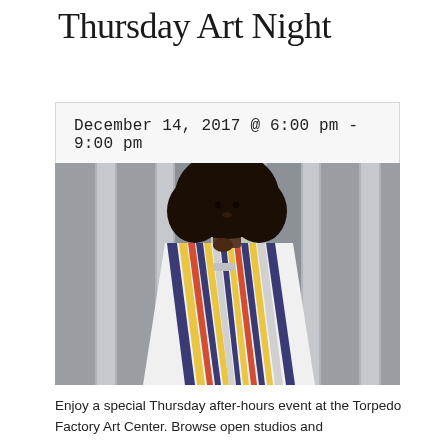Thursday Art Night
December 14, 2017 @ 6:00 pm - 9:00 pm
[Figure (photo): A woman with large natural curly hair wearing a colorful striped poncho over a yellow dress, standing in front of curtains/columns in a modern interior space.]
Enjoy a special Thursday after-hours event at the Torpedo Factory Art Center. Browse open studios and